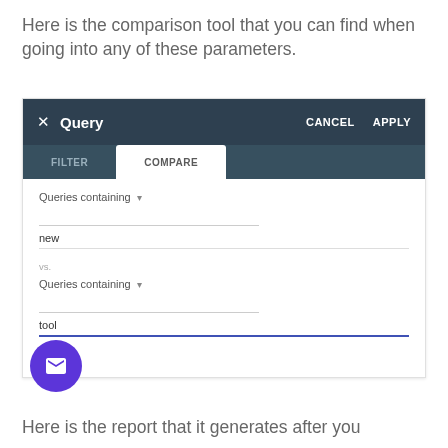Here is the comparison tool that you can find when going into any of these parameters.
[Figure (screenshot): A screenshot of a Query comparison tool UI with a dark header bar showing 'Query' title, CANCEL and APPLY buttons, a tab bar with FILTER and COMPARE tabs (COMPARE active), a dropdown labeled 'Queries containing' with value 'new', a VS. separator, another 'Queries containing' dropdown with 'tool' entered in a blue-underlined text field.]
Here is the report that it generates after you